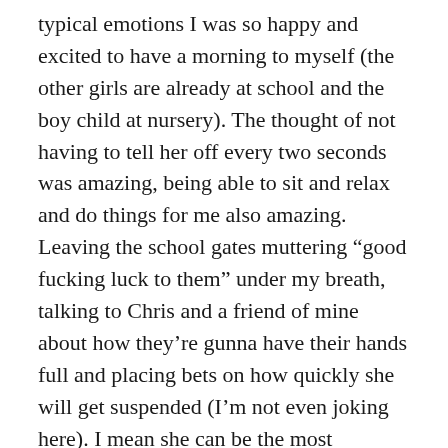typical emotions I was so happy and excited to have a morning to myself (the other girls are already at school and the boy child at nursery). The thought of not having to tell her off every two seconds was amazing, being able to sit and relax and do things for me also amazing. Leaving the school gates muttering “good fucking luck to them” under my breath, talking to Chris and a friend of mine about how they’re gunna have their hands full and placing bets on how quickly she will get suspended (I’m not even joking here). I mean she can be the most amazing little girl that says the sweetest things, has the biggest heart and gives amazing cuddles, but more so she’s the one causing trouble, punching her sisters, throwing